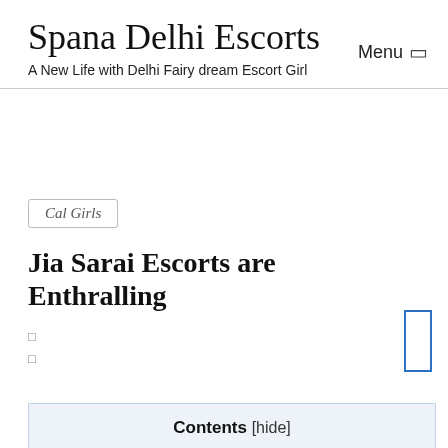Spana Delhi Escorts
A New Life with Delhi Fairy dream Escort Girl
Menu
Cal Girls
Jia Sarai Escorts are Enthralling
Contents [hide]